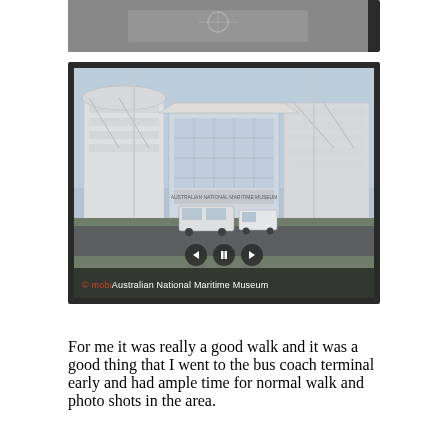[Figure (photo): Partially visible photo at top of page, dark framed, showing a partial exterior view]
[Figure (screenshot): Dark-framed photo slideshow showing Australian National Maritime Museum building exterior with navigation controls (back, pause, forward) and caption overlay reading '© mobi Australian National Maritime Museum']
For me it was really a good walk and it was a good thing that I went to the bus coach terminal early and had ample time for normal walk and photo shots in the area.